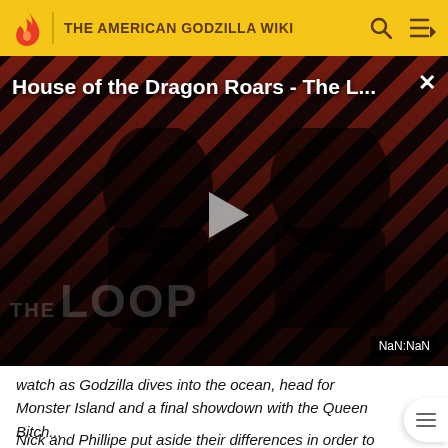THE AMERICAN GODZILLA WIKI
[Figure (screenshot): Video player showing 'House of the Dragon Roars - The L...' with a play button, diagonal red and black stripe background, two dark figures visible, 'THE LOOP' text watermark, and NaN:NaN timestamp badge.]
watch as Godzilla dives into the ocean, head for Monster Island and a final showdown with the Queen Bitch...
Nick and Phillipe put aside their differences in order to